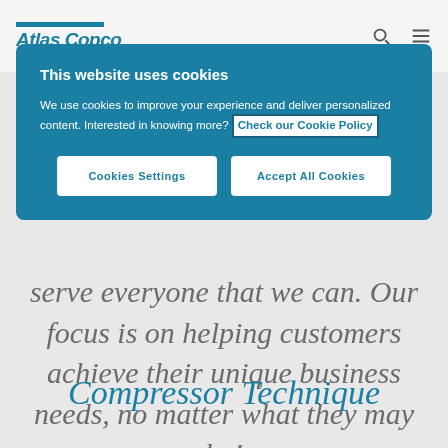Atlas Copco
This website uses cookies
We use cookies to improve your experience and deliver personalized content. Interested in knowing more? Check our Cookie Policy
Cookies Settings
Accept All Cookies
serve everyone that we can. Our focus is on helping customers achieve their unique business needs, no matter what they may be!
Compressor Technique